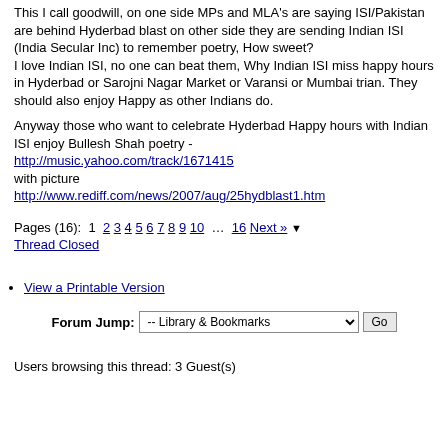This I call goodwill, on one side MPs and MLA's are saying ISI/Pakistan are behind Hyderbad blast on other side they are sending Indian ISI (India Secular Inc) to remember poetry, How sweet?
I love Indian ISI, no one can beat them, Why Indian ISI miss happy hours in Hyderbad or Sarojni Nagar Market or Varansi or Mumbai trian. They should also enjoy Happy as other Indians do.
Anyway those who want to celebrate Hyderbad Happy hours with Indian ISI enjoy Bullesh Shah poetry -
http://music.yahoo.com/track/1671415
with picture
http://www.rediff.com/news/2007/aug/25hydblast1.htm
Pages (16):  1  2  3  4  5  6  7  8  9  10  ...  16  Next »  ▼
Thread Closed
View a Printable Version
Forum Jump:  -- Library & Bookmarks  Go
Users browsing this thread: 3 Guest(s)